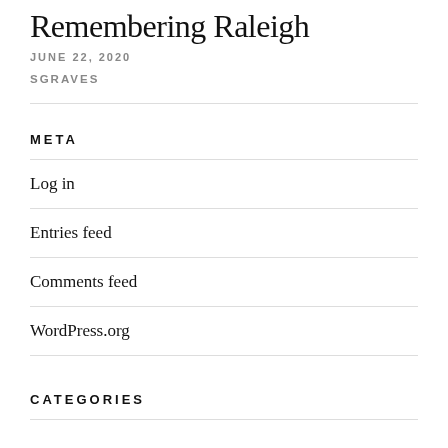Remembering Raleigh
JUNE 22, 2020
SGRAVES
META
Log in
Entries feed
Comments feed
WordPress.org
CATEGORIES